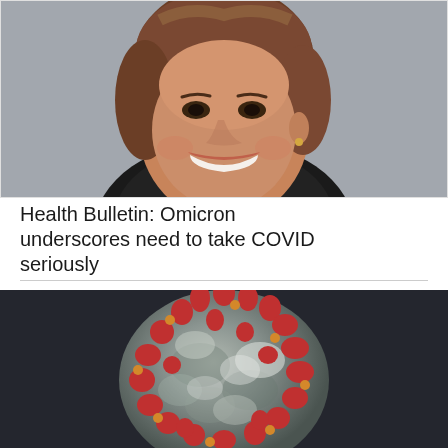[Figure (photo): Close-up portrait photo of a smiling woman with brown hair pulled back, wearing a dark top, against a blurred background]
Health Bulletin: Omicron underscores need to take COVID seriously
[Figure (photo): Close-up microscope/3D rendered image of a coronavirus particle showing red spike proteins on a gray spherical body against a dark background]